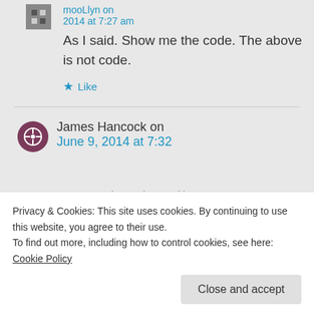moollyn on June 9, 2014 at 7:27 am
As I said. Show me the code. The above is not code.
Like
James Hancock on June 9, 2014 at 7:32
Privacy & Cookies: This site uses cookies. By continuing to use this website, you agree to their use.
To find out more, including how to control cookies, see here: Cookie Policy
Close and accept
instructions and have